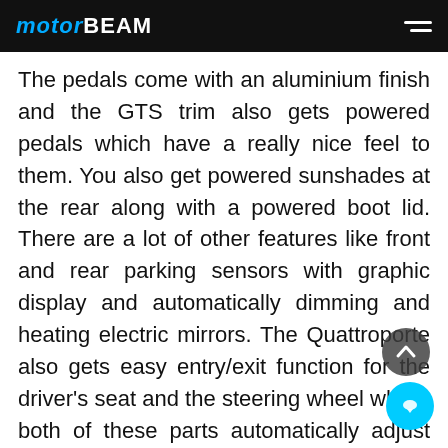MOTORBEAM
The pedals come with an aluminium finish and the GTS trim also gets powered pedals which have a really nice feel to them. You also get powered sunshades at the rear along with a powered boot lid. There are a lot of other features like front and rear parking sensors with graphic display and automatically dimming and heating electric mirrors. The Quattroporte also gets easy entry/exit function for the driver's seat and the steering wheel where both of these parts automatically adjust themselves to give you easy ingress/egress and come back to their original positions again. You also get a dual-zone climate control system which chills the